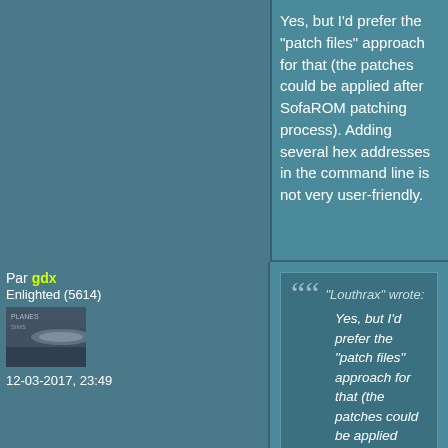Yes, but I'd prefer the "patch files" approach for that (the patches could be applied after SofaROM patching process). Adding several hex addresses in the command line is not very user-friendly.
Par gdx
Enlighted (5614)
12-03-2017, 23:49
"Louthrax" wrote:
Yes, but I'd prefer the "patch files" approach for that (the patches could be applied after SofaROM patching process). Adding several hex addresses in the command line is not very user-friendly.
It would be nice if it's a plain text file and if you make a software that can create this text file by comparing an original Rom with the patched Rom.
It would also be nice to be able to group the patches in a specific folder (e.g. /patches) created in the Roms folder.
(I'm just trying to give ideas.)
Par Louthrax
Prophet (2420)
gdx wrote:
"Louthrax" wrote:
Yes, but I'd prefer the "patch files"